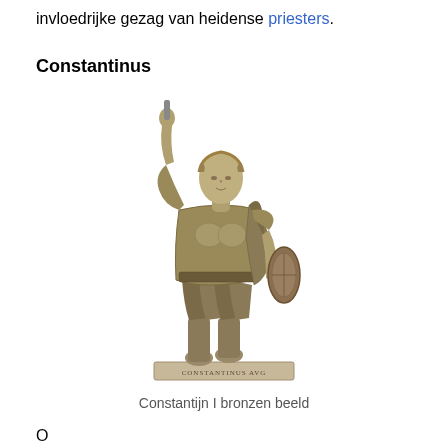invloedrijke gezag van heidense priesters.
Constantinus
[Figure (photo): Bronze statue of Constantine I (Constantijn I) in Roman military dress, right arm raised, holding an object, with a shield at his left side. Base inscribed with text.]
Constantijn I bronzen beeld
O